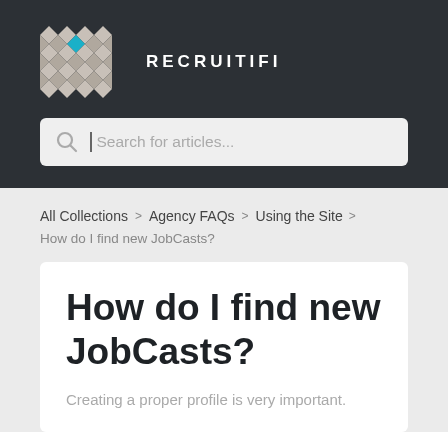[Figure (logo): Recruitifi logo with diamond grid pattern icon and RECRUITIFI text in white on dark background]
Search for articles...
All Collections > Agency FAQs > Using the Site
How do I find new JobCasts?
How do I find new JobCasts?
Creating a proper profile is very important.